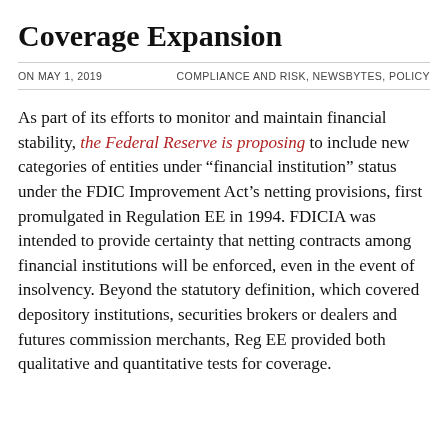Coverage Expansion
ON MAY 1, 2019    COMPLIANCE AND RISK, NEWSBYTES, POLICY
As part of its efforts to monitor and maintain financial stability, the Federal Reserve is proposing to include new categories of entities under “financial institution” status under the FDIC Improvement Act’s netting provisions, first promulgated in Regulation EE in 1994. FDICIA was intended to provide certainty that netting contracts among financial institutions will be enforced, even in the event of insolvency. Beyond the statutory definition, which covered depository institutions, securities brokers or dealers and futures commission merchants, Reg EE provided both qualitative and quantitative tests for coverage.